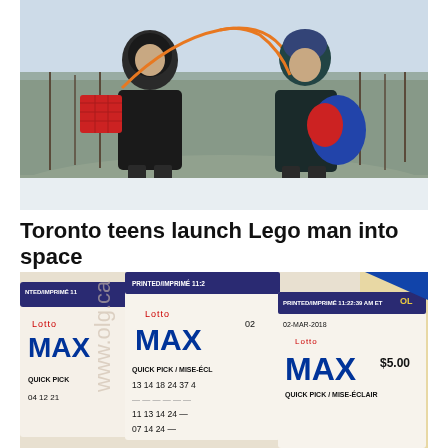[Figure (photo): Two teenagers outdoors in a snowy winter landscape, holding orange cords attached to equipment including a red crate; preparing to launch a weather balloon]
Toronto teens launch Lego man into space
[Figure (photo): Close-up photograph of multiple Lotto MAX lottery tickets showing PRINTED/IMPRIMÉ timestamps including 11:22:39 AM ET, date 02-MAR-2018, numbers 13 14 18 24 37 and other picks, $5.00 QUICK PICK / MISE-ÉCLAIR]